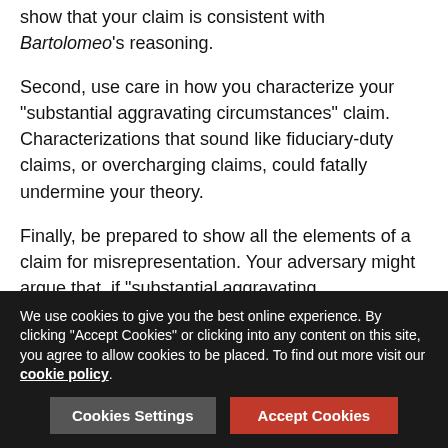show that your claim is consistent with Bartolomeo's reasoning.
Second, use care in how you characterize your “substantial aggravating circumstances” claim. Characterizations that sound like fiduciary-duty claims, or overcharging claims, could fatally undermine your theory.
Finally, be prepared to show all the elements of a claim for misrepresentation. Your adversary might argue that, if “substantial aggravating circumstances” require deception, your claim requires actual and reasonable reliance on the alleged misrepresentation. The Di Sciullo decision did not focus on the Di Sciullos’ reliance on any particular misrepresentation. That point suggests that that evidence was weak or absent.
As these points show, a successful “substantial aggravating
We use cookies to give you the best online experience. By clicking “Accept Cookies” or clicking into any content on this site, you agree to allow cookies to be placed. To find out more visit our cookie policy.